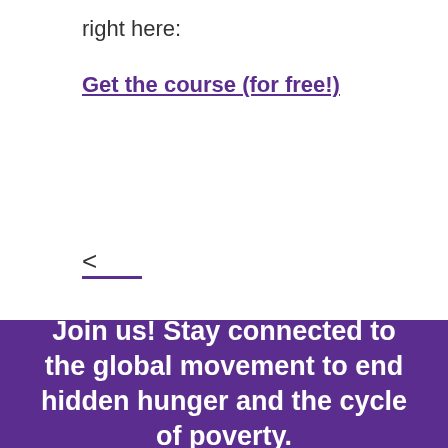right here:
Get the course (for free!)
[Figure (other): Navigation back arrow with purple underline]
Join us! Stay connected to the global movement to end hidden hunger and the cycle of poverty.